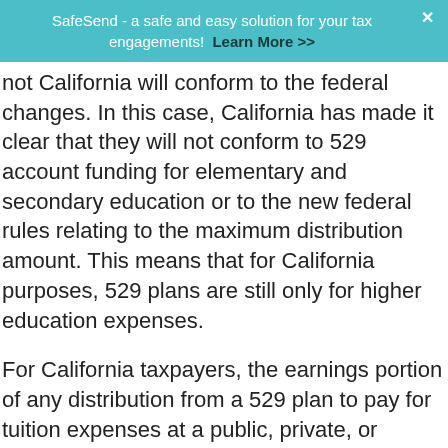SafeSend - a safe and easy solution for your tax engagements! Learn More >>
not California will conform to the federal changes. In this case, California has made it clear that they will not conform to 529 account funding for elementary and secondary education or to the new federal rules relating to the maximum distribution amount. This means that for California purposes, 529 plans are still only for higher education expenses.
For California taxpayers, the earnings portion of any distribution from a 529 plan to pay for tuition expenses at a public, private, or religious K-12 school or any amount rolled over from a QTP to an ABLE account may be subject to California income tax as well as an additional 2.5% penalty